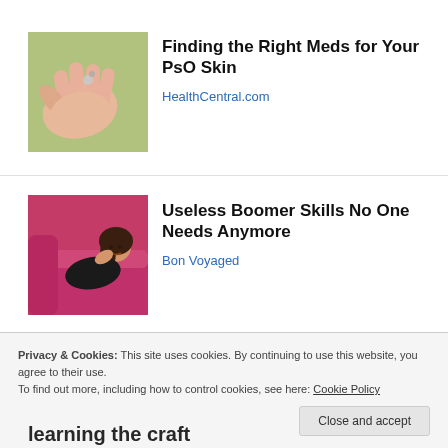[Figure (photo): Close-up photo of a hand receiving pills or drops, with a green background]
Finding the Right Meds for Your PsO Skin
HealthCentral.com
[Figure (photo): Woman in black outfit lying on a pink/magenta couch, smiling at camera]
Useless Boomer Skills No One Needs Anymore
Bon Voyaged
Privacy & Cookies: This site uses cookies. By continuing to use this website, you agree to their use.
To find out more, including how to control cookies, see here: Cookie Policy
Close and accept
learning the craft